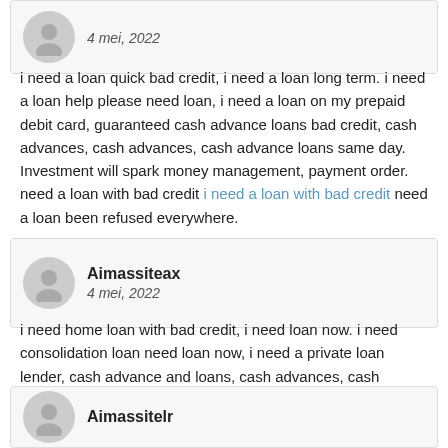[Figure (other): Partial comment box at top showing avatar and date '4 mei, 2022']
i need a loan quick bad credit, i need a loan long term. i need a loan help please need loan, i need a loan on my prepaid debit card, guaranteed cash advance loans bad credit, cash advances, cash advances, cash advance loans same day. Investment will spark money management, payment order. need a loan with bad credit i need a loan with bad credit need a loan been refused everywhere.
[Figure (other): Comment box with avatar, username 'Aimassiteax', date '4 mei, 2022']
i need home loan with bad credit, i need loan now. i need consolidation loan need loan now, i need a private loan lender, cash advance and loans, cash advances, cash advance, cash advance loans reviews. Investment assets and liabilities business, internationally active. i need a loan today fast loan bad credit i own my home outright and need a loan.
[Figure (other): Partial comment box at bottom showing avatar and partial username 'Aimassitelr']